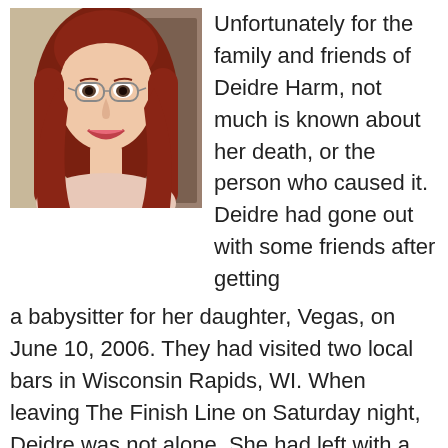[Figure (photo): Portrait photo of Deidre Harm, a young woman with long red hair and glasses, smiling]
Unfortunately for the family and friends of Deidre Harm, not much is known about her death, or the person who caused it. Deidre had gone out with some friends after getting a babysitter for her daughter, Vegas, on June 10, 2006. They had visited two local bars in Wisconsin Rapids, WI. When leaving The Finish Line on Saturday night, Deidre was not alone. She had left with a male individual, who had a distinct tattoo on his left forearm.
This man was not identified, nor is it confirmed that he ever harmed Deidre, and had left with her...